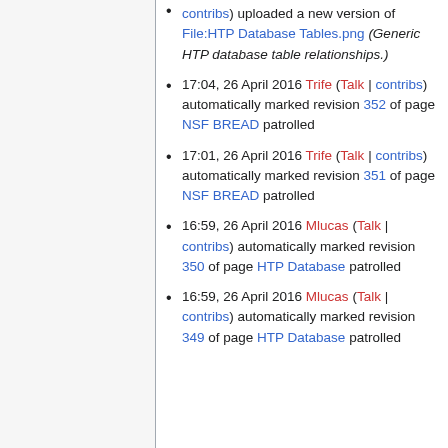contribs) uploaded a new version of File:HTP Database Tables.png (Generic HTP database table relationships.)
17:04, 26 April 2016 Trife (Talk | contribs) automatically marked revision 352 of page NSF BREAD patrolled
17:01, 26 April 2016 Trife (Talk | contribs) automatically marked revision 351 of page NSF BREAD patrolled
16:59, 26 April 2016 Mlucas (Talk | contribs) automatically marked revision 350 of page HTP Database patrolled
16:59, 26 April 2016 Mlucas (Talk | contribs) automatically marked revision 349 of page HTP Database patrolled